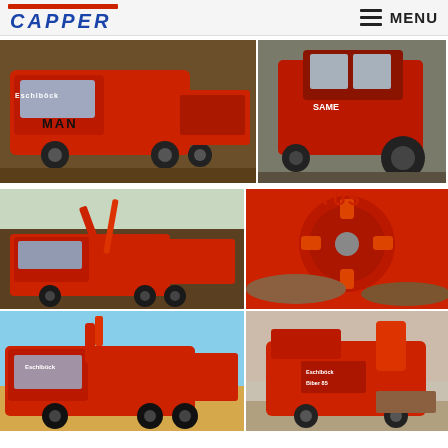[Figure (logo): CAPPER company logo in blue italic text]
[Figure (photo): Red MAN truck (Eschlböck) with wood chipper on a dirt field – top strip showing two images side by side]
[Figure (photo): Four photos of Eschlböck Biber 85 wood chipper: truck with crane, close-up of chipper drum, truck side view, chipper machine side view]
Nome   Biber 85 Eschlböck